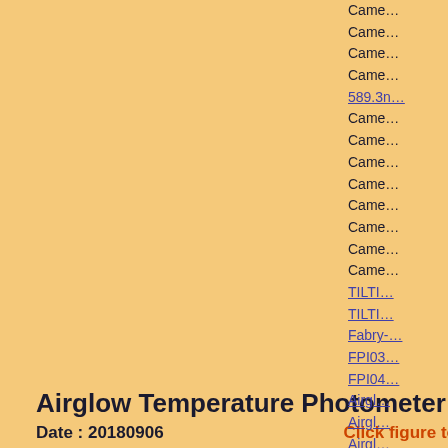Airglow Temperature Photometer 2, Intensity
Date : 20180906   Click figure to enlarge
Came…
Came…
Came…
Came… 589.3n…
Came…
Came…
Came…
Came…
Came…
Came…
Came…
Came…
TILTI…
TILTI…
Fabry-…
FPI03…
FPI04…
Airgl…
Airgl…
Airgl…
3-ch p…